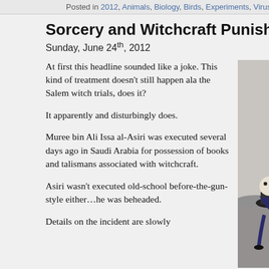Posted in 2012, Animals, Biology, Birds, Experiments, Virus | 1 C
Sorcery and Witchcraft Punishable By Behe...
Sunday, June 24th, 2012
At first this headline sounded like a joke. This kind of treatment doesn't still happen ala the Salem witch trials, does it?
It apparently and disturbingly does.
Muree bin Ali Issa al-Asiri was executed several days ago in Saudi Arabia for possession of books and talismans associated with witchcraft.
Asiri wasn't executed old-school before-the-gun-style either…he was beheaded.
Details on the incident are slowly
[Figure (photo): Black and white photograph showing a figure balanced on top of a tall pole, with a seated person at the base and a cartoon police/officer figure overlaid at the bottom left]